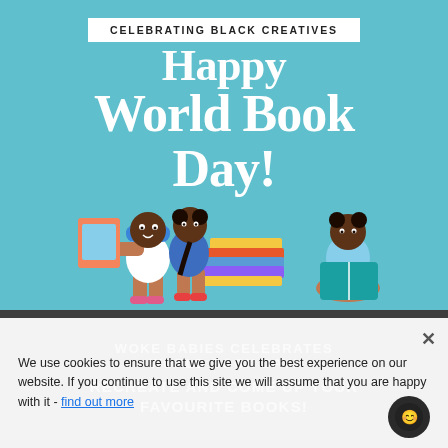[Figure (illustration): Social media style promotional image on teal/light blue background. White banner at top reads 'CELEBRATING BLACK CREATIVES'. Large white handwritten-style text reads 'Happy World Book Day!'. Bottom portion shows illustrated Black children with books – a boy in blue cap holding a picture book, a girl in denim overalls, and a girl sitting cross-legged reading a teal book, with a stack of colorful books in the middle.]
WOKE BABIES CELEBRATES WORLD BOOK DAY!
RECREATE AND COME UP YOUR FAVOURITE BOOKS!
We use cookies to ensure that we give you the best experience on our website. If you continue to use this site we will assume that you are happy with it - find out more